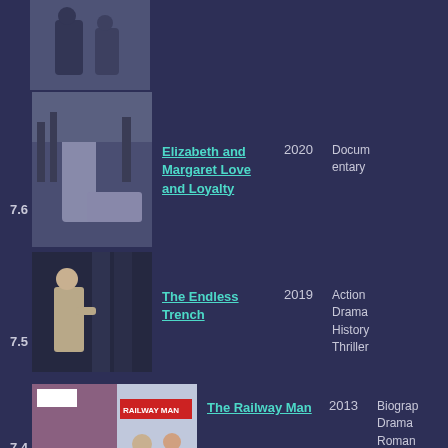[Figure (photo): Movie thumbnail for an unspecified film at top, showing two people outdoors]
Drama Thriller
[Figure (photo): Movie thumbnail for Elizabeth and Margaret Love and Loyalty showing a woman in a coat outdoors]
7.6   Elizabeth and Margaret Love and Loyalty   2020   Documentary
[Figure (photo): Movie thumbnail for The Endless Trench showing a man indoors]
7.5   The Endless Trench   2019   Action Drama History Thriller
[Figure (photo): Movie poster/thumbnail for The Railway Man Blu-ray]
7.4   The Railway Man   2013   Biography Drama Romance War
[Figure (photo): Movie poster/thumbnail for Lakshya showing soldiers and a romantic couple]
7.4   Lakshya   2004   Action Drama Romance War